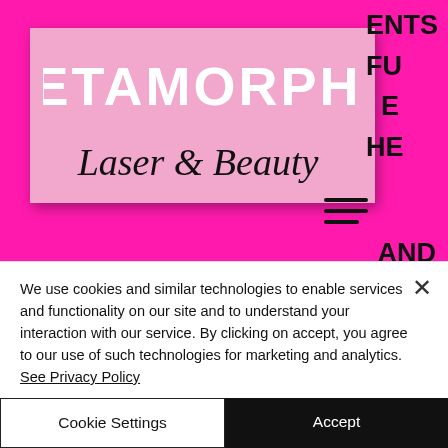[Figure (logo): Metamorphic Laser & Beauty logo on hot pink background with white/light-pink rectangle containing blocky uppercase METAMORPHIC text and cursive 'Laser & Beauty' below. Partial text visible on right side: ENTS, FU, E, HE, AND. Hamburger menu icon visible.]
SIDE EFFECTS THAT CAN MINIMIZE THE GAINS OF THE TREATMENT.  This is especially
We use cookies and similar technologies to enable services and functionality on our site and to understand your interaction with our service. By clicking on accept, you agree to our use of such technologies for marketing and analytics. See Privacy Policy
Cookie Settings
Accept